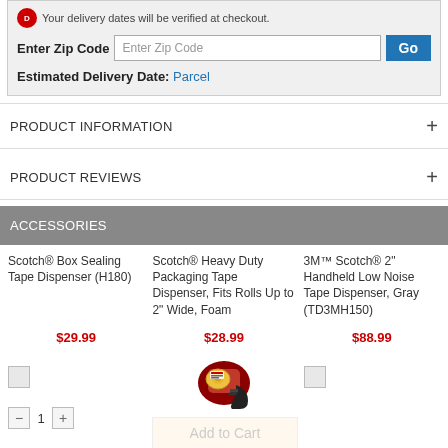Your delivery dates will be verified at checkout.
Enter Zip Code
Estimated Delivery Date: Parcel
PRODUCT INFORMATION
PRODUCT REVIEWS
ACCESSORIES
Scotch® Box Sealing Tape Dispenser (H180)
$29.99
Scotch® Heavy Duty Packaging Tape Dispenser, Fits Rolls Up to 2" Wide, Foam
$28.99
3M™ Scotch® 2" Handheld Low Noise Tape Dispenser, Gray (TD3MH150)
$88.99
[Figure (photo): Scotch heavy duty packaging tape dispenser product photo, red and black handheld dispenser]